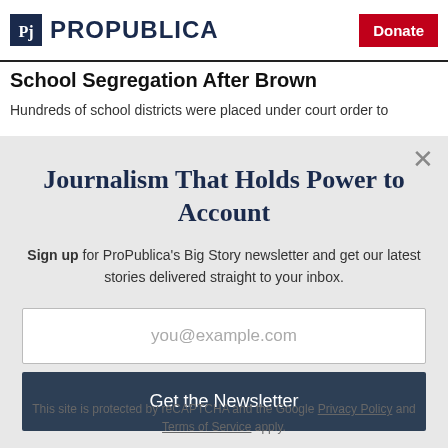ProPublica | Donate
School Segregation After Brown
Hundreds of school districts were placed under court order to
Journalism That Holds Power to Account
Sign up for ProPublica's Big Story newsletter and get our latest stories delivered straight to your inbox.
you@example.com
Get the Newsletter
No thanks, I'm all set
This site is protected by reCAPTCHA and the Google Privacy Policy and Terms of Service apply.